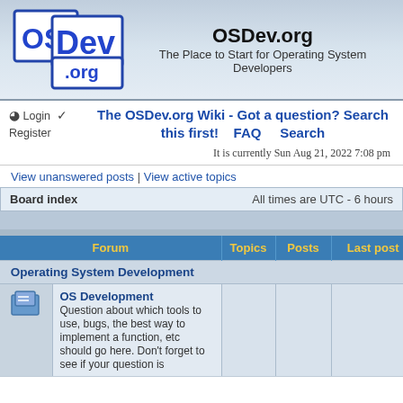OSDev.org – The Place to Start for Operating System Developers
Login Register | The OSDev.org Wiki - Got a question? Search this first! FAQ Search
It is currently Sun Aug 21, 2022 7:08 pm
View unanswered posts | View active topics
Board index   All times are UTC - 6 hours
| Forum | Topics | Posts | Last post |
| --- | --- | --- | --- |
| Operating System Development |  |  |  |
| OS Development
Question about which tools to use, bugs, the best way to implement a function, etc should go here. Don't forget to see if your question is |  |  |  |